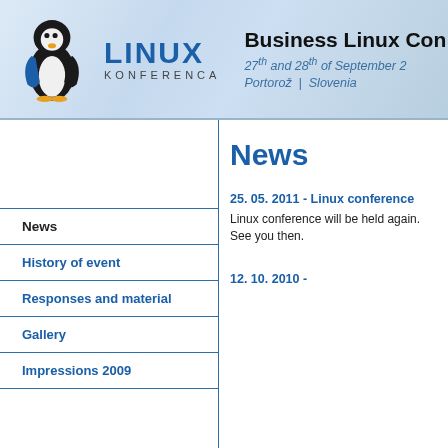[Figure (logo): Linux Konferenca penguin logo with LINUX KONFERENCA text]
Business Linux Con[ference]
27th and 28th of September 2[011] | Portorož | Slovenia
News
History of event
Responses and material
Gallery
Impressions 2009
News
25. 05. 2011 - Linux conference
Linux conference will be held again. See you then.
12. 10. 2010 -